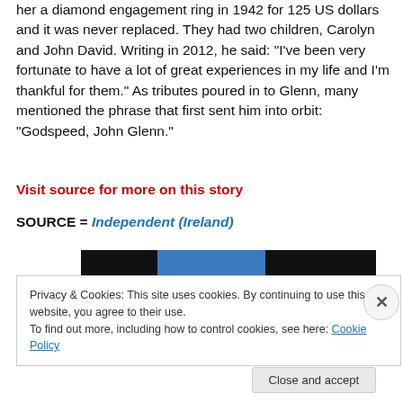her a diamond engagement ring in 1942 for 125 US dollars and it was never replaced. They had two children, Carolyn and John David. Writing in 2012, he said: “I’ve been very fortunate to have a lot of great experiences in my life and I’m thankful for them.” As tributes poured in to Glenn, many mentioned the phrase that first sent him into orbit: “Godspeed, John Glenn.”
Visit source for more on this story
SOURCE = Independent (Ireland)
[Figure (screenshot): Dark banner image strip with blue section overlay]
Privacy & Cookies: This site uses cookies. By continuing to use this website, you agree to their use.
To find out more, including how to control cookies, see here: Cookie Policy
Close and accept